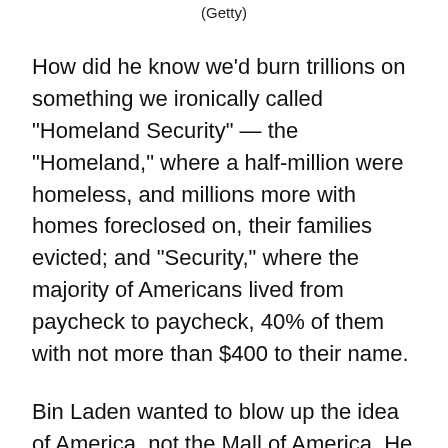(Getty)
How did he know we’d burn trillions on something we ironically called “Homeland Security” — the “Homeland,” where a half-million were homeless, and millions more with homes foreclosed on, their families evicted; and “Security,” where the majority of Americans lived from paycheck to paycheck, 40% of them with not more than $400 to their name.
Bin Laden wanted to blow up the idea of America, not the Mall of America. He did not have visions of empire. He never thought of